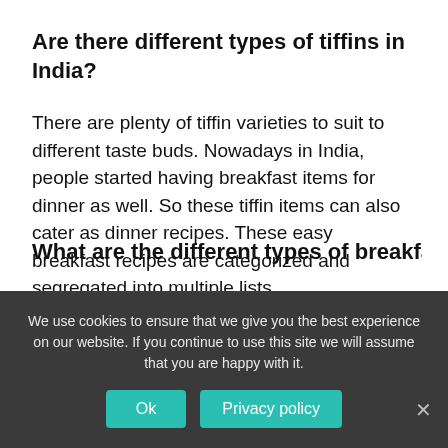Are there different types of tiffins in India?
There are plenty of tiffin varieties to suit to different taste buds. Nowadays in India, people started having breakfast items for dinner as well. So these tiffin items can also cater as dinner recipes. These easy breakfast recipes are categorized and segregated into multiple lists.
What are the different types of breakfast
We use cookies to ensure that we give you the best experience on our website. If you continue to use this site we will assume that you are happy with it.